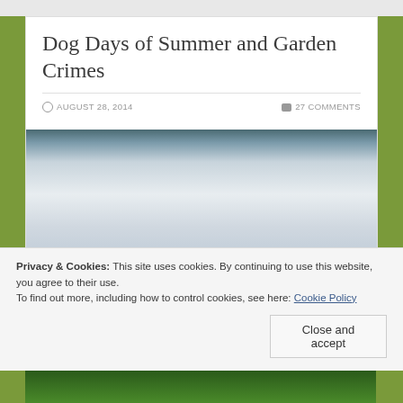Dog Days of Summer and Garden Crimes
AUGUST 28, 2014   27 COMMENTS
[Figure (photo): Blurred outdoor/garden photo with a grayish-blue sky and misty soft-focus landscape]
Privacy & Cookies: This site uses cookies. By continuing to use this website, you agree to their use.
To find out more, including how to control cookies, see here: Cookie Policy
Close and accept